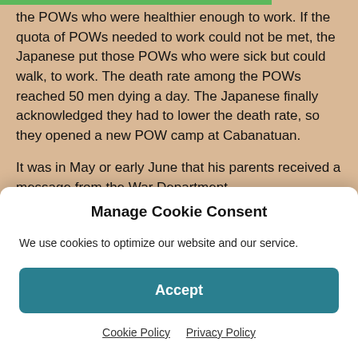the POWs who were healthier enough to work. If the quota of POWs needed to work could not be met, the Japanese put those POWs who were sick but could walk, to work. The death rate among the POWs reached 50 men dying a day. The Japanese finally acknowledged they had to lower the death rate, so they opened a new POW camp at Cabanatuan.
It was in May or early June that his parents received a message from the War Department.
Dear Mrs. M. Van Gelder:
Manage Cookie Consent
We use cookies to optimize our website and our service.
Accept
Cookie Policy   Privacy Policy